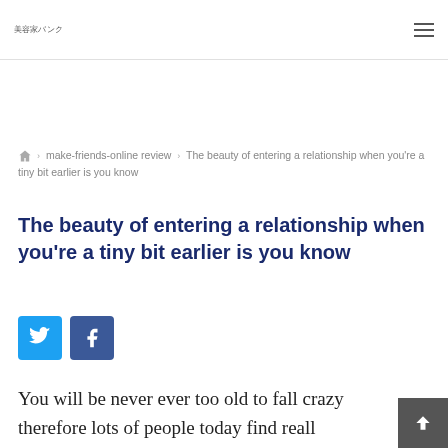美容家バンク
⌂ › make-friends-online review › The beauty of entering a relationship when you're a tiny bit earlier is you know
The beauty of entering a relationship when you're a tiny bit earlier is you know
[Figure (other): Twitter and Facebook social share buttons]
You will be never ever too old to fall crazy therefore lots of people today find really